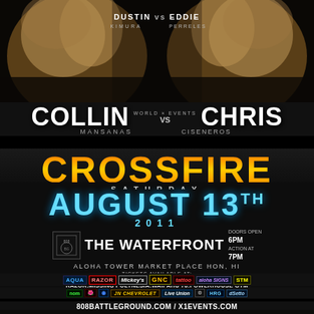[Figure (photo): Two shirtless fighters facing each other on dark background, promotional event photo]
DUSTIN vs EDDIE
KIMURA    PERRELES
COLLIN MANSANAS vs CHRIS CISENEROS
CROSSFIRE
SATURDAY
AUGUST 13TH 2011
THE WATERFRONT
ALOHA TOWER MARKET PLACE HON, HI
DOORS OPEN 6PM
ACTION AT 7PM
TICKETS AVAILABLE AT:
ALL MILITARY OUTLETS:ALL NO FEAR STORE LOCATIONS
RAZOR:MISSING POLYNESIA:WAIPAHU 76:POWERHOUSE GYM
AQUA  RAZOR  Mickey's  GNC  TATTOO  ALOHA SIGNS  STM
808BATTLEGROUND.COM / X1EVENTS.COM
THE WATERFRONT @ ALOHA TOWER
JULY 22 2011
808 BATTLEGROUND AND X-1 WORLD EVENTS PRESENTS